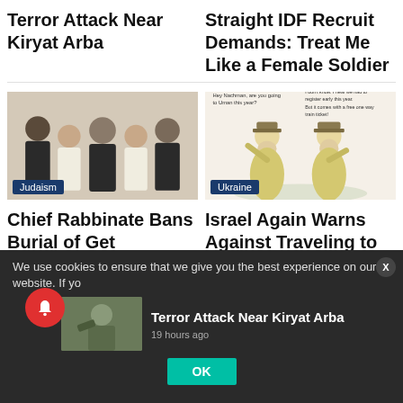Terror Attack Near Kiryat Arba
Straight IDF Recruit Demands: Treat Me Like a Female Soldier
[Figure (photo): Group photo of people in formal/academic robes with Judaism category badge]
Chief Rabbinate Bans Burial of Get Refusers' Dying Father
[Figure (illustration): Cartoon illustration of two Hasidic figures talking, with Ukraine category badge]
Israel Again Warns Against Traveling to Uman for Rosh HaShanah
We use cookies to ensure that we give you the best experience on our website. If yo
[Figure (photo): Thumbnail photo of soldier for Terror Attack Near Kiryat Arba article]
Terror Attack Near Kiryat Arba
19 hours ago